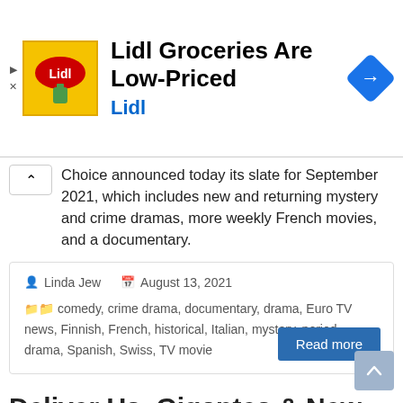[Figure (other): Lidl advertisement banner with yellow Lidl logo, bold text 'Lidl Groceries Are Low-Priced', brand name 'Lidl' in blue, and a blue navigation arrow icon on the right]
Choice announced today its slate for September 2021, which includes new and returning mystery and crime dramas, more weekly French movies, and a documentary.
Linda Jew   August 13, 2021
comedy, crime drama, documentary, drama, Euro TV news, Finnish, French, historical, Italian, mystery, period drama, Spanish, Swiss, TV movie
Read more
Deliver Us, Gigantes & New Bastards of Pizzofalcone Topline